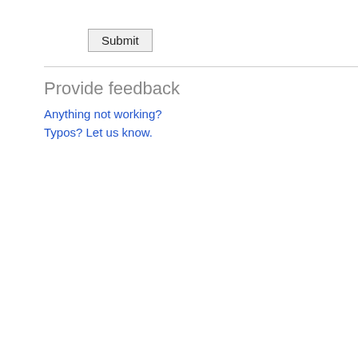Submit
Provide feedback
Anything not working?
Typos? Let us know.
N 237 Sec
N:1936.04
[Agora No 1227)
N-7 1226,
N:1936.05
N:1936.05
N:1936.05
N:1936.05
N:1936.05
N:1936.05
[Agora No 1257)
Grave Mo
4189 N:19
N:1936.05
4189 ... 11
... N:1936.